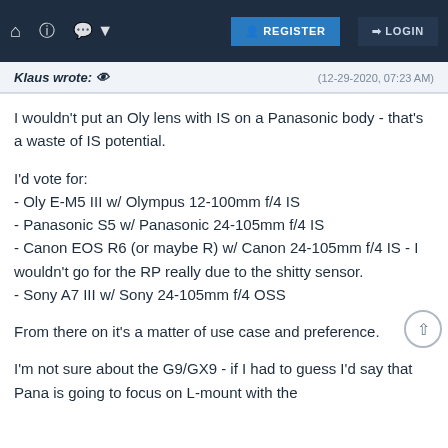REGISTER  LOGIN
Klaus wrote: (12-29-2020, 07:23 AM)
I wouldn't put an Oly lens with IS on a Panasonic body - that's a waste of IS potential.

I'd vote for:
- Oly E-M5 III w/ Olympus 12-100mm f/4 IS
- Panasonic S5 w/ Panasonic 24-105mm f/4 IS
- Canon EOS R6 (or maybe R) w/ Canon 24-105mm f/4 IS - I wouldn't go for the RP really due to the shitty sensor.
- Sony A7 III w/ Sony 24-105mm f/4 OSS

From there on it's a matter of use case and preference.

I'm not sure about the G9/GX9 - if I had to guess I'd say that Pana is going to focus on L-mount with the